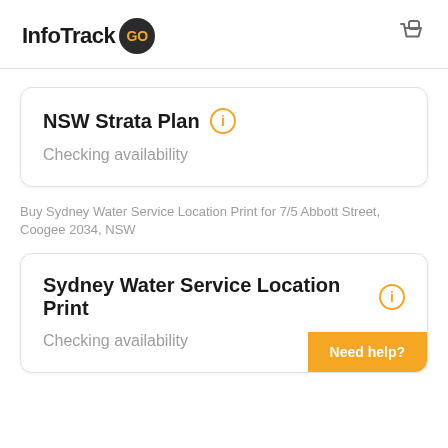InfoTrack GO
NSW Strata Plan
Checking availability
Buy Sydney Water Service Location Print for 7/5 Abbott Street, Coogee 2034, NSW
Sydney Water Service Location Print
Checking availability
Need help?